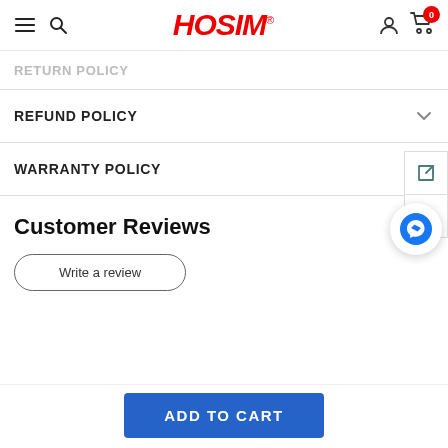HOSIM (logo header with navigation icons and cart)
RETURN POLICY
REFUND POLICY
WARRANTY POLICY
Customer Reviews
Write a review